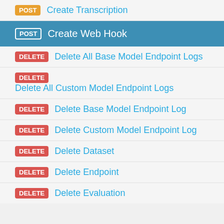POST Create Transcription
POST Create Web Hook
DELETE Delete All Base Model Endpoint Logs
DELETE Delete All Custom Model Endpoint Logs
DELETE Delete Base Model Endpoint Log
DELETE Delete Custom Model Endpoint Log
DELETE Delete Dataset
DELETE Delete Endpoint
DELETE Delete Evaluation